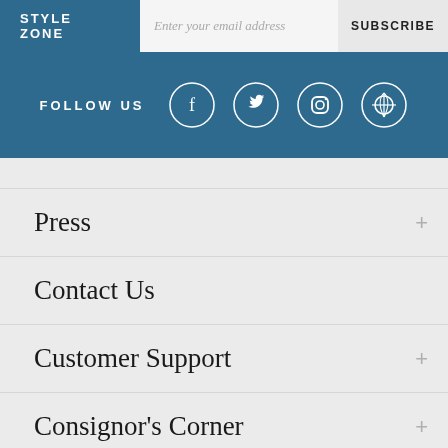STYLE ZONE
Enter your email address
SUBSCRIBE
FOLLOW US
[Figure (infographic): Four social media icons in circles: Facebook, Twitter, Instagram, Pinterest]
Press
Contact Us
Customer Support
Consignor's Corner
Our Policy